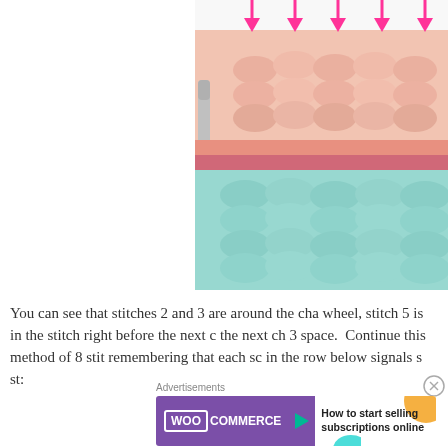[Figure (photo): Close-up photo of crochet stitches with pink and teal yarn. Pink downward-pointing arrows overlay the top of the image indicating stitch positions.]
You can see that stitches 2 and 3 are around the cha wheel, stitch 5 is in the stitch right before the next c the next ch 3 space.  Continue this method of 8 stit remembering that each sc in the row below signals s st:
[Figure (other): WooCommerce advertisement banner: 'How to start selling subscriptions online']